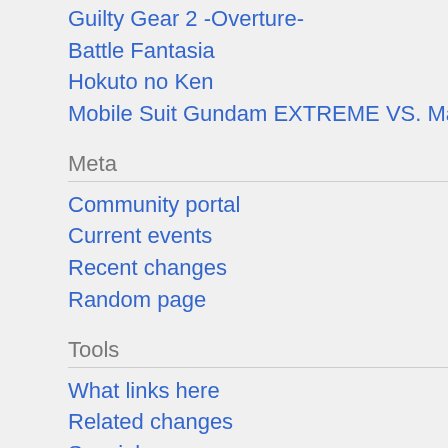Guilty Gear 2 -Overture-
Battle Fantasia
Hokuto no Ken
Mobile Suit Gundam EXTREME VS. Maxi Boost ON
Meta
Community portal
Current events
Recent changes
Random page
Tools
What links here
Related changes
Special pages
Printable version